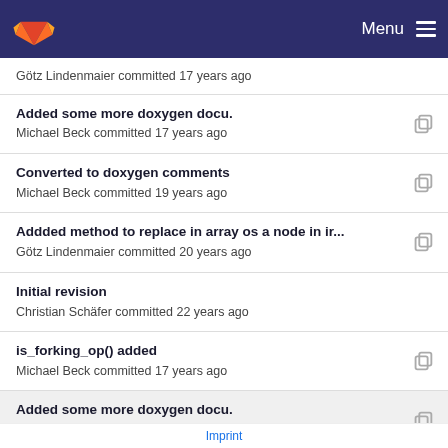Menu
Götz Lindenmaier committed 17 years ago
Added some more doxygen docu.
Michael Beck committed 17 years ago
Converted to doxygen comments
Michael Beck committed 19 years ago
Addded method to replace in array os a node in ir...
Götz Lindenmaier committed 20 years ago
Initial revision
Christian Schäfer committed 22 years ago
is_forking_op() added
Michael Beck committed 17 years ago
Added some more doxygen docu.
Michael Beck committed 17 years ago
is_forking_op() added
Michael Beck committed 17 years ago
Imprint